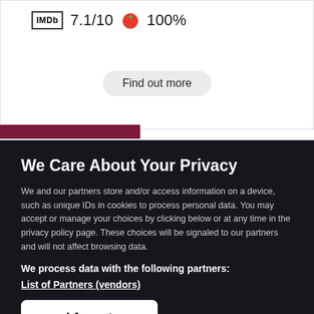[Figure (screenshot): IMDb rating box showing '7.1/10' and a red tomato icon showing '100%' on a white background]
Find out more
We Care About Your Privacy
We and our partners store and/or access information on a device, such as unique IDs in cookies to process personal data. You may accept or manage your choices by clicking below or at any time in the privacy policy page. These choices will be signaled to our partners and will not affect browsing data.
We process data with the following partners:
List of Partners (vendors)
I Accept
Manage Cookies